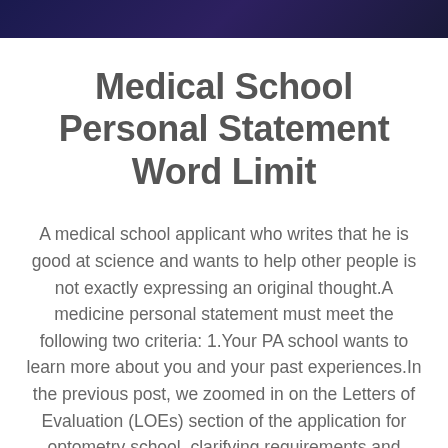Medical School Personal Statement Word Limit
A medical school applicant who writes that he is good at science and wants to help other people is not exactly expressing an original thought.A medicine personal statement must meet the following two criteria: 1.Your PA school wants to learn more about you and your past experiences.In the previous post, we zoomed in on the Letters of Evaluation (LOEs) section of the application for optometry school, clarifying requirements and providing some pearls for effectively fulfilling them.• Think of and highlight those aspects of your experience or philosophy or